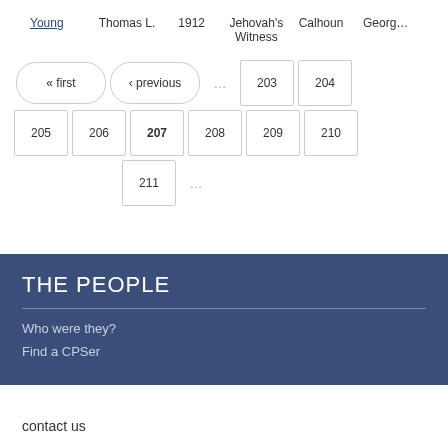| Young | Thomas L. | 1912 | Jehovah's Witness | Calhoun | Georg… |
| --- | --- | --- | --- | --- | --- |
« first  ‹ previous  …  203  204  205  206  207  208  209  210  211  …
THE PEOPLE
Who were they?
Find a CPSer
contact us